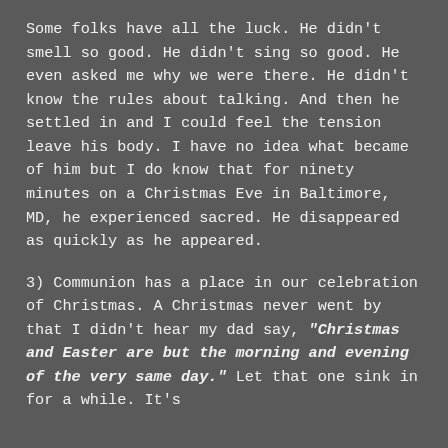Some folks have all the luck.  He didn't smell so good.  He didn't sing so good.  He even asked me why we were there.  He didn't know the rules about talking.  And then he settled in and I could feel the tension leave his body.  I have no idea what became of him but I do know that for ninety minutes on a Christmas Eve in Baltimore, MD, he experienced sacred.  He disappeared as quickly as he appeared.
3)  Communion has a place in our celebration of Christmas.  A Christmas never went by that I didn't hear my dad say, "Christmas and Easter are but the morning and evening of the very same day."  Let that one sink in for a while.  It's